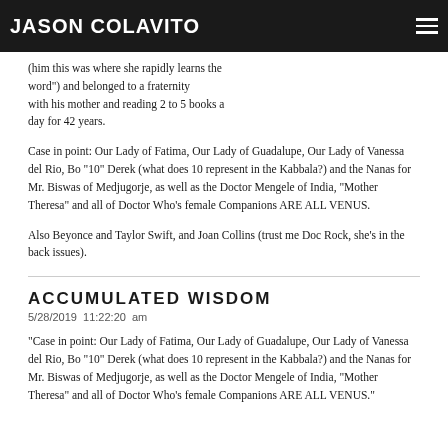JASON COLAVITO
(him this was where she rapidly learns the word") and belonged to a fraternity with his mother and reading 2 to 5 books a day for 42 years.
Case in point: Our Lady of Fatima, Our Lady of Guadalupe, Our Lady of Vanessa del Rio, Bo "10" Derek (what does 10 represent in the Kabbala?) and the Nanas for Mr. Biswas of Medjugorje, as well as the Doctor Mengele of India, "Mother Theresa" and all of Doctor Who's female Companions ARE ALL VENUS.
Also Beyonce and Taylor Swift, and Joan Collins (trust me Doc Rock, she's in the back issues).
ACCUMULATED WISDOM
5/28/2019  11:22:20  am
"Case in point: Our Lady of Fatima, Our Lady of Guadalupe, Our Lady of Vanessa del Rio, Bo "10" Derek (what does 10 represent in the Kabbala?) and the Nanas for Mr. Biswas of Medjugorje, as well as the Doctor Mengele of India, "Mother Theresa" and all of Doctor Who's female Companions ARE ALL VENUS."